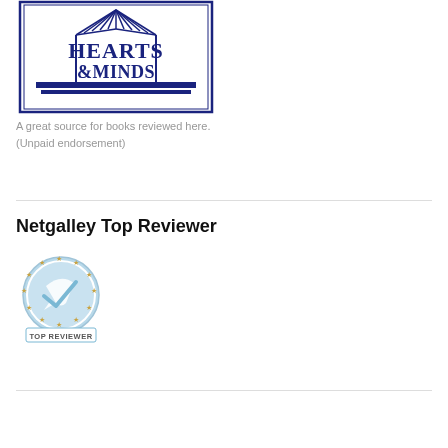[Figure (logo): Hearts & Minds bookstore logo — dark navy blue text reading HEARTS & MINDS with a stylized open book above and double horizontal rules, all enclosed in a rectangular border]
A great source for books reviewed here. (Unpaid endorsement)
Netgalley Top Reviewer
[Figure (logo): Netgalley Top Reviewer badge — circular badge with light blue background, a white checkmark/pen nib icon in center, ring of gold stars around edge, and 'TOP REVIEWER' text at the bottom in a rectangular banner]